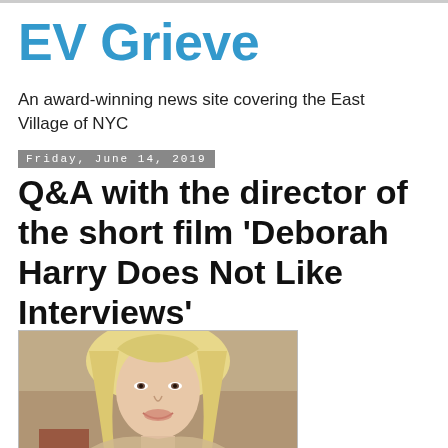EV Grieve
An award-winning news site covering the East Village of NYC
Friday, June 14, 2019
Q&A with the director of the short film 'Deborah Harry Does Not Like Interviews'
[Figure (photo): Photo of a blonde woman (Deborah Harry) smiling, close-up face shot with flowing blonde hair and bangs]